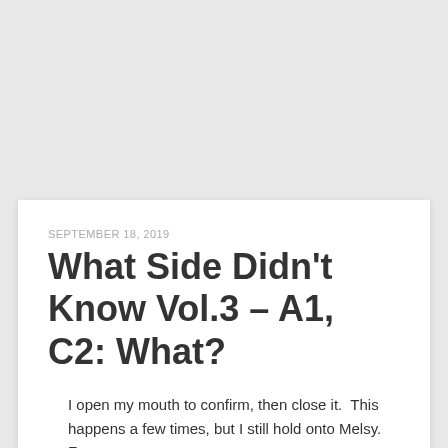SEPTEMBER 18, 2019
What Side Didn't Know Vol.3 – A1, C2: What?
I open my mouth to confirm, then close it.  This happens a few times, but I still hold onto Melsy.  For